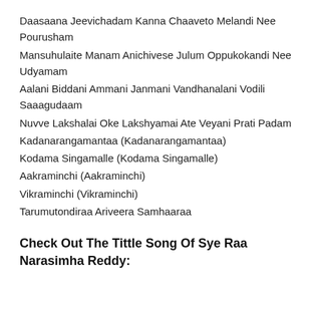Daasaana Jeevichadam Kanna Chaaveto Melandi Nee Pourusham
Mansuhulaite Manam Anichivese Julum Oppukokandi Nee Udyamam
Aalani Biddani Ammani Janmani Vandhanalani Vodili Saaagudaam
Nuvve Lakshalai Oke Lakshyamai Ate Veyani Prati Padam
Kadanarangamantaa (Kadanarangamantaa)
Kodama Singamalle (Kodama Singamalle)
Aakraminchi (Aakraminchi)
Vikraminchi (Vikraminchi)
Tarumutondiraa Ariveera Samhaaraa
Check Out The Tittle Song Of Sye Raa Narasimha Reddy: